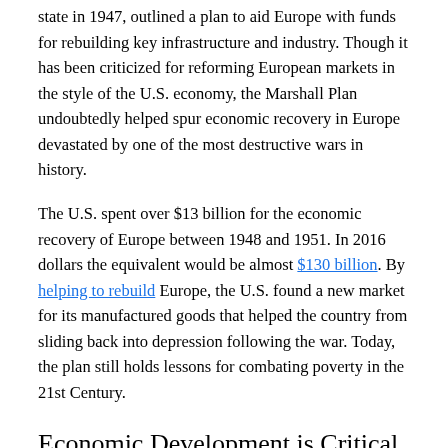state in 1947, outlined a plan to aid Europe with funds for rebuilding key infrastructure and industry. Though it has been criticized for reforming European markets in the style of the U.S. economy, the Marshall Plan undoubtedly helped spur economic recovery in Europe devastated by one of the most destructive wars in history.
The U.S. spent over $13 billion for the economic recovery of Europe between 1948 and 1951. In 2016 dollars the equivalent would be almost $130 billion. By helping to rebuild Europe, the U.S. found a new market for its manufactured goods that helped the country from sliding back into depression following the war. Today, the plan still holds lessons for combating poverty in the 21st Century.
Economic Development is Critical
Any approach to aid that doesn't take the economic situation into account is doomed to short term success. The Marshall Plan made a point of focusing on rebuilding the economies of Europe